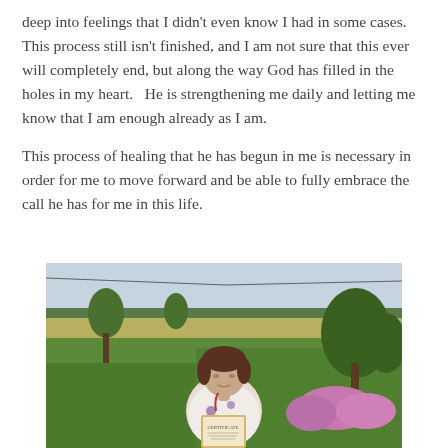deep into feelings that I didn't even know I had in some cases.  This process still isn't finished, and I am not sure that this ever will completely end, but along the way God has filled in the holes in my heart.   He is strengthening me daily and letting me know that I am enough already as I am.
This process of healing that he has begun in me is necessary in order for me to move forward and be able to fully embrace the call he has for me in this life.
[Figure (photo): A woman with short dark hair wearing a floral blouse stands outdoors on a green lawn holding a framed certificate or award. Trees and a field are visible in the background, with flowering shrubs to the right.]